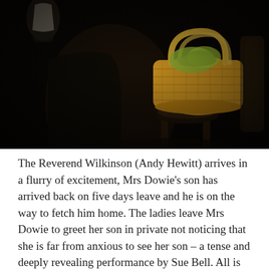[Figure (photo): A dark theatrical stage photo showing a wicker basket sitting on a stool, lit against a very dark background. A garment is faintly visible on the left.]
The Reverend Wilkinson (Andy Hewitt) arrives in a flurry of excitement, Mrs Dowie's son has arrived back on five days leave and he is on the way to fetch him home. The ladies leave Mrs Dowie to greet her son in private not noticing that she is far from anxious to see her son – a tense and deeply revealing performance by Sue Bell. All is explained when the equally reluctant son, beautifully played by